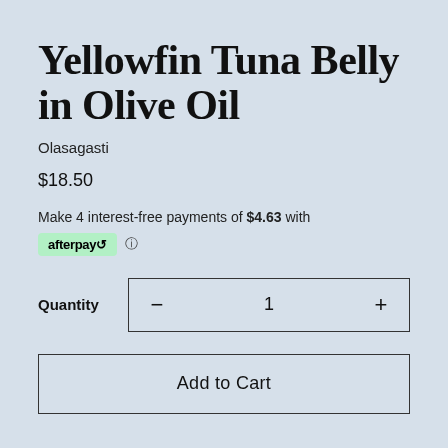Yellowfin Tuna Belly in Olive Oil
Olasagasti
$18.50
Make 4 interest-free payments of $4.63 with
[Figure (logo): Afterpay logo badge in green with circular arrow icon]
Quantity 1
Add to Cart